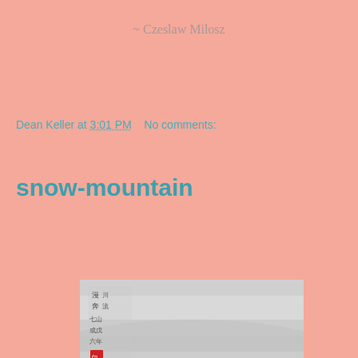~ Czeslaw Milosz
Dean Keller at 3:01 PM   No comments:
snow-mountain
[Figure (photo): Black and white Chinese ink painting or photograph of a snow-covered mountain with calligraphy text and a red seal stamp in the upper left corner.]